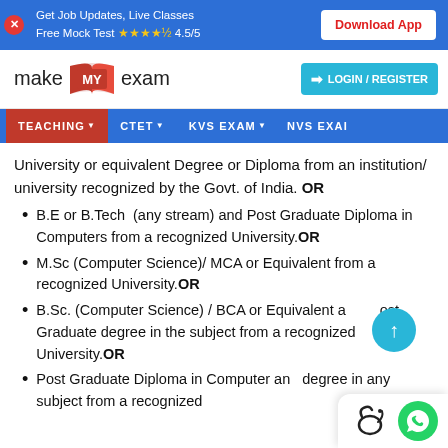Get Job Updates, Live Classes Free Mock Test ★★★★½ 4.5/5  Download App
[Figure (logo): makeMyExam logo with red book icon and MY in red box]
LOGIN / REGISTER
TEACHING ▼  CTET ▼  KVS EXAM ▼  NVS EXAM
University or equivalent Degree or Diploma from an institution/ university recognized by the Govt. of India. OR
B.E or B.Tech  (any stream) and Post Graduate Diploma in Computers from a recognized University.OR
M.Sc (Computer Science)/ MCA or Equivalent from a recognized University.OR
B.Sc. (Computer Science) / BCA or Equivalent and Post Graduate degree in the subject from a recognized University.OR
Post Graduate Diploma in Computer and degree in any subject from a recognized